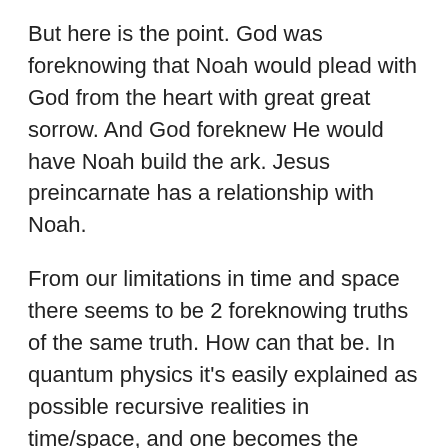But here is the point. God was foreknowing that Noah would plead with God from the heart with great great sorrow. And God foreknew He would have Noah build the ark. Jesus preincarnate has a relationship with Noah.
From our limitations in time and space there seems to be 2 foreknowing truths of the same truth. How can that be. In quantum physics it's easily explained as possible recursive realities in time/space, and one becomes the reality.
How much more possible is recursive time with God existing outside of the formation of all things visible and invisible.
Remember this: There is not an iota in The God Breathed Bible that is contradictory. Some things are secret and